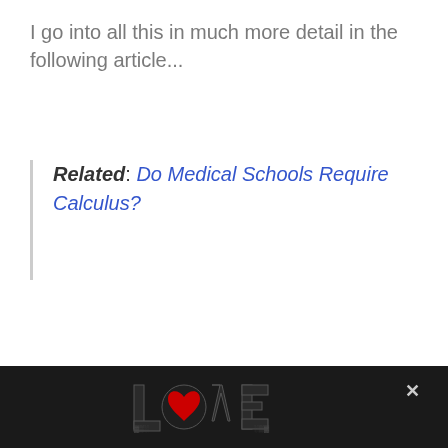I go into all this in much more detail in the following article...
Related: Do Medical Schools Require Calculus?
Do Doctors Use Math?
Unless you’re going heavily into research or med-tech, like some of these math-loving doctors, then math won’t be a huge area of medical practice.
[Figure (other): Advertisement banner at bottom of page showing LOVE text art logo with close button]